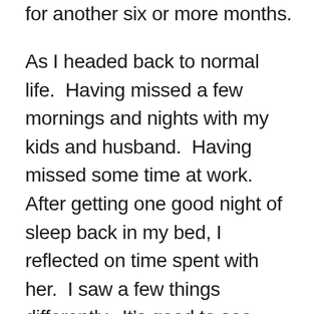for another six or more months.
As I headed back to normal life.  Having missed a few mornings and nights with my kids and husband.  Having missed some time at work.  After getting one good night of sleep back in my bed, I reflected on time spent with her.  I saw a few things differently.  It’s good to see beyond your own views.  I had some renewed enthusiasm for my daily grind.  Being away makes home better.  I said goodbye looking forward to next time.